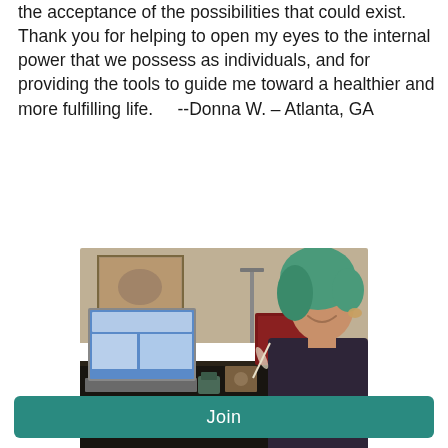the acceptance of the possibilities that could exist.  Thank you for helping to open my eyes to the internal power that we possess as individuals, and for providing the tools to guide me toward a healthier and more fulfilling life.      --Donna W. – Atlanta, GA
[Figure (photo): A woman with teal/green short hair, smiling, sitting at a dark table with a laptop open in front of her, various items on the table, and artwork on the wall behind her.]
Join